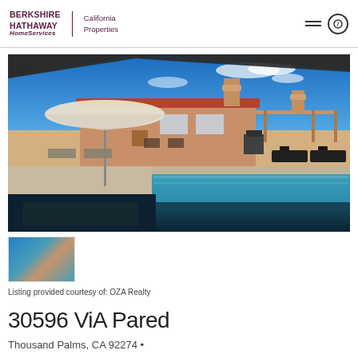BERKSHIRE HATHAWAY HomeServices | California Properties
[Figure (photo): Outdoor pool area of a residential property with patio umbrellas, lounge chairs, a BBQ grill, and a Spanish-style house with red tile roof under a blue sky.]
[Figure (photo): Thumbnail image of the same property pool area.]
Listing provided courtesy of: OZA Realty
30596 ViA Pared
Thousand Palms, CA 92274 •